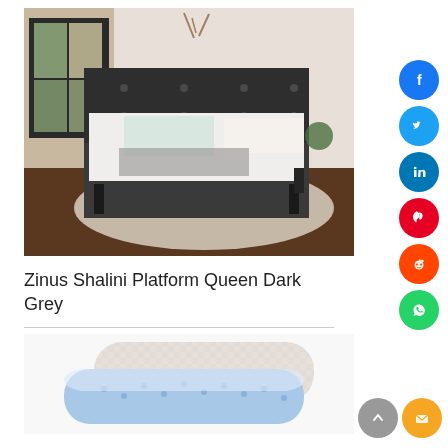[Figure (photo): Photo of a Zinus Shalini Platform bed with dark grey upholstered headboard, white mattress, teal pillow, and grey throw blanket on a wooden floor with a neutral rug and large window]
Zinus Shalini Platform Queen Dark Grey
[Figure (photo): Photo of blue and white checkered memory foam pillows with ventilated blue foam visible]